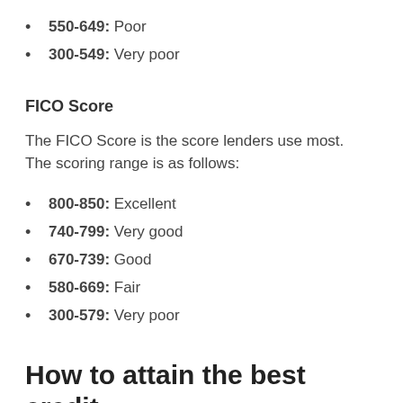550-649: Poor
300-549: Very poor
FICO Score
The FICO Score is the score lenders use most. The scoring range is as follows:
800-850: Excellent
740-799: Very good
670-739: Good
580-669: Fair
300-579: Very poor
How to attain the best credit